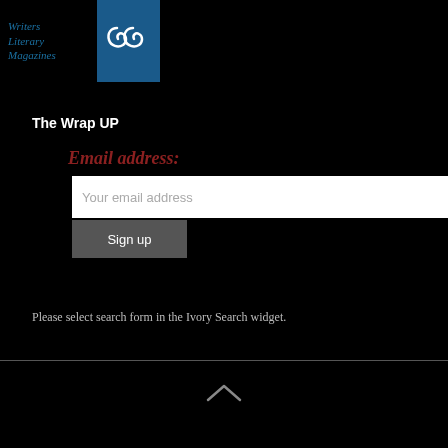[Figure (logo): Writers Literary Magazines logo with blue decorative swirl icon on right side]
The Wrap UP
Email address:
[Figure (screenshot): Email input field with placeholder 'Your email address']
[Figure (screenshot): Sign up button]
Please select search form in the Ivory Search widget.